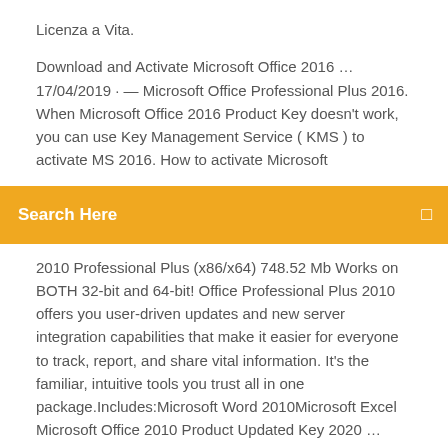Licenza a Vita.
Download and Activate Microsoft Office 2016 … 17/04/2019 · — Microsoft Office Professional Plus 2016. When Microsoft Office 2016 Product Key doesn't work, you can use Key Management Service ( KMS ) to activate MS 2016. How to activate Microsoft
Search Here
2010 Professional Plus (x86/x64) 748.52 Mb Works on BOTH 32-bit and 64-bit! Office Professional Plus 2010 offers you user-driven updates and new server integration capabilities that make it easier for everyone to track, report, and share vital information. It's the familiar, intuitive tools you trust all in one package.Includes:Microsoft Word 2010Microsoft Excel Microsoft Office 2010 Product Updated Key 2020 … 05/02/2020 · Microsoft Office 2010 Product Updated Key 2020 is a form of the Microsoft Office productivity collection for Microsoft Windows. Office 2010 was released to manufacturing